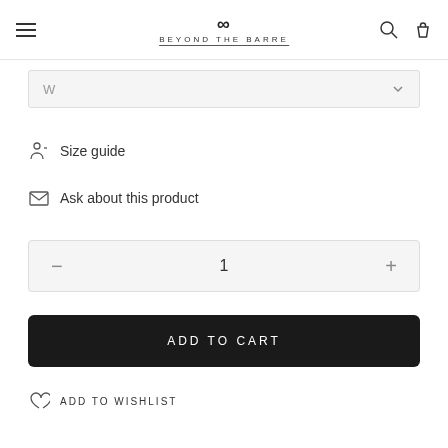Beyond The Barre
W
Size guide
Ask about this product
1
ADD TO CART
ADD TO WISHLIST